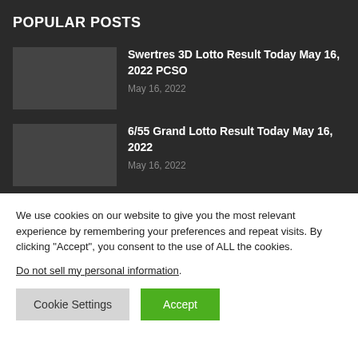POPULAR POSTS
Swertres 3D Lotto Result Today May 16, 2022 PCSO — May 16, 2022
6/55 Grand Lotto Result Today May 16, 2022 — May 16, 2022
We use cookies on our website to give you the most relevant experience by remembering your preferences and repeat visits. By clicking “Accept”, you consent to the use of ALL the cookies.
Do not sell my personal information.